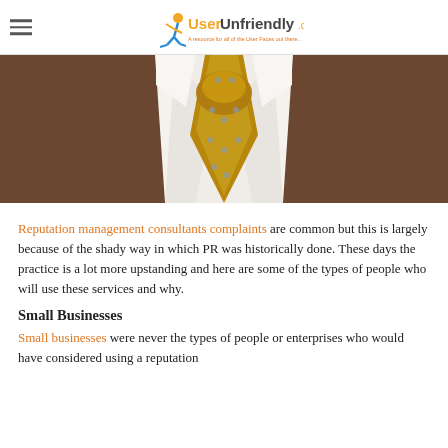UserUnfriendly
[Figure (photo): Close-up photo of a man wearing a brown suit jacket, white dress shirt, and a golden/mustard colored tie with small diamond patterns.]
Reputation management consultants complaints are common but this is largely because of the shady way in which PR was historically done. These days the practice is a lot more upstanding and here are some of the types of people who will use these services and why.
Small Businesses
Small businesses were never the types of people or enterprises who would have considered using a reputation